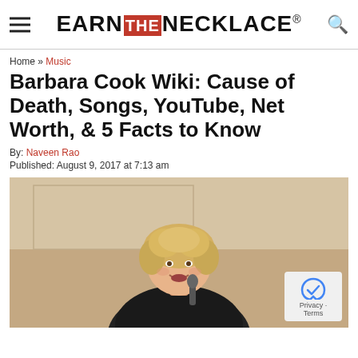EARN THE NECKLACE®
Home » Music
Barbara Cook Wiki: Cause of Death, Songs, YouTube, Net Worth, & 5 Facts to Know
By: Naveen Rao
Published: August 9, 2017 at 7:13 am
[Figure (photo): Photo of Barbara Cook, an elderly blonde woman performing or speaking, wearing a dark jacket]